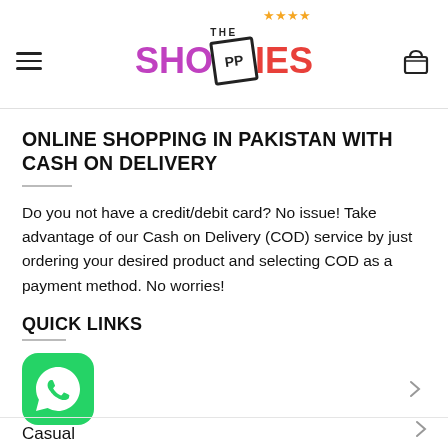THE SHOPPIES
ONLINE SHOPPING IN PAKISTAN WITH CASH ON DELIVERY
Do you not have a credit/debit card? No issue! Take advantage of our Cash on Delivery (COD) service by just ordering your desired product and selecting COD as a payment method. No worries!
QUICK LINKS
[Figure (logo): WhatsApp icon - green rounded square with white phone handset]
Casual